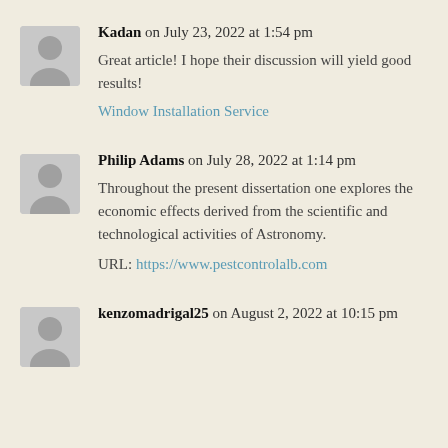Kadan on July 23, 2022 at 1:54 pm
Great article! I hope their discussion will yield good results!
Window Installation Service
Philip Adams on July 28, 2022 at 1:14 pm
Throughout the present dissertation one explores the economic effects derived from the scientific and technological activities of Astronomy.
URL: https://www.pestcontrolalb.com
kenzomadrigal25 on August 2, 2022 at 10:15 pm